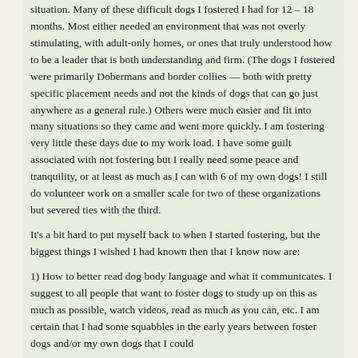situation. Many of these difficult dogs I fostered I had for 12 – 18 months. Most either needed an environment that was not overly stimulating, with adult-only homes, or ones that truly understood how to be a leader that is both understanding and firm. (The dogs I fostered were primarily Dobermans and border collies — both with pretty specific placement needs and not the kinds of dogs that can go just anywhere as a general rule.) Others were much easier and fit into many situations so they came and went more quickly. I am fostering very little these days due to my work load. I have some guilt associated with not fostering but I really need some peace and tranquility, or at least as much as I can with 6 of my own dogs! I still do volunteer work on a smaller scale for two of these organizations but severed ties with the third.
It's a bit hard to put myself back to when I started fostering, but the biggest things I wished I had known then that I know now are:
1) How to better read dog body language and what it communicates. I suggest to all people that want to foster dogs to study up on this as much as possible, watch videos, read as much as you can, etc. I am certain that I had some squabbles in the early years between foster dogs and/or my own dogs that I could